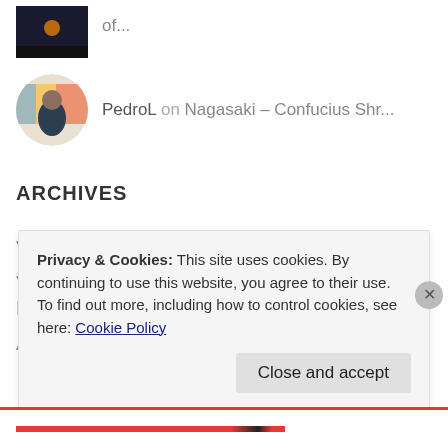[Figure (photo): Dark thumbnail image (partial, top of page)]
of...
[Figure (photo): Circular avatar photo of PedroL]
PedroL on Nagasaki – Confucius Shr...
ARCHIVES
July 2022
June 2022
May 2022
April 2022
Privacy & Cookies: This site uses cookies. By continuing to use this website, you agree to their use.
To find out more, including how to control cookies, see here: Cookie Policy
Close and accept